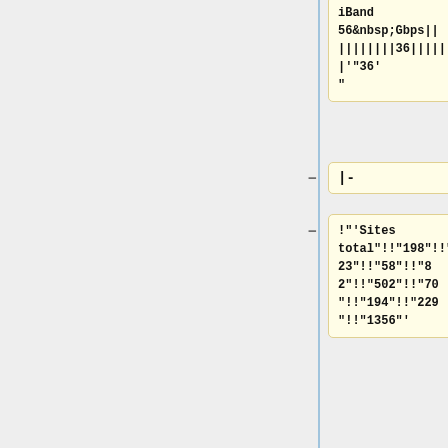iBand 56&nbsp;Gbps||||||||||36||||||||||'"36'"
|-
!"'Sites total"!!"198"!!"23"!!"58"!!"82"!!"502"!!"70"!!"194"!!"229"!!"1356"
|}
|}
Line 441:
Line 251:
!"'Sites total"!!"99"!!"23"!!"37"!!"82"!!"276"!!"70"!!"147"!!""!!"151"!!"285"
!"'Sites total"!!"99"!!"23"!!"37"!!"82"!!"276"!!"70"!!"147"!!""!!"151"!!"285"